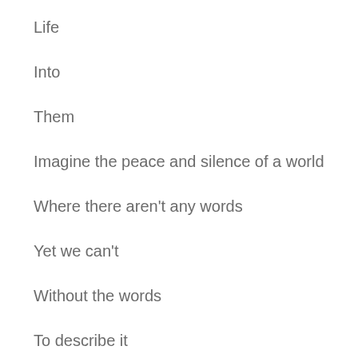Life
Into
Them
Imagine the peace and silence of a world
Where there aren't any words
Yet we can't
Without the words
To describe it
First